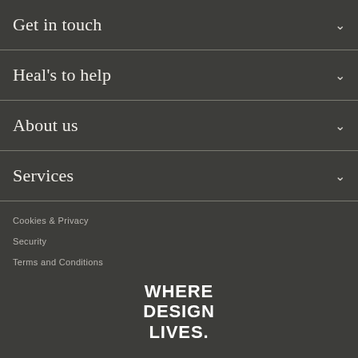Get in touch
Heal's to help
About us
Services
Cookies & Privacy
Security
Terms and Conditions
WHERE DESIGN LIVES.